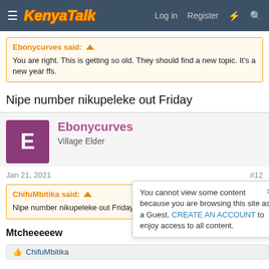KenyaTalk | Log in | Register
Ebonycurves said: ↑
You are right. This is getting so old. They should find a new topic. It's a new year ffs.
Nipe number nikupeleke out Friday
Ebonycurves
Village Elder
Jan 21, 2021
#12
ChifuMbitika said: ↑
Nipe number nikupeleke out Friday
Mtcheeeeew
ChifuMbitika
You cannot view some content because you are browsing this site as a Guest. CREATE AN ACCOUNT to enjoy access to all content.